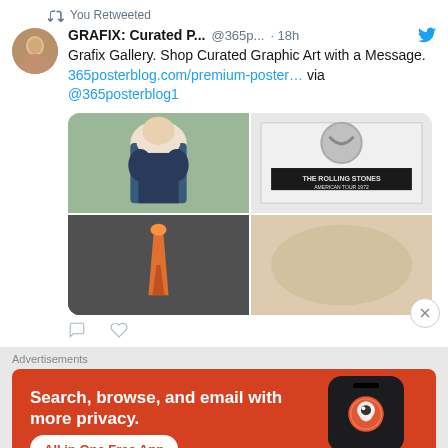You Retweeted
GRAFIX: Curated P... @365p... · 18h
Grafix Gallery. Shop Curated Graphic Art with a Message. 365posterblog.com/premium-poster… via @365posterblog1
[Figure (photo): 2x2 grid of art poster images: top-left shows a woman in Victorian dress, top-right shows Rolling Stones American Tour poster, bottom-left shows an orange/flame abstract, bottom-right shows a blurred pale image]
Advertisements
[Figure (infographic): DuckDuckGo advertisement banner with orange background. Text: Search, browse, and email with more privacy. All in One Free App. Shows phone mockup with DuckDuckGo logo.]